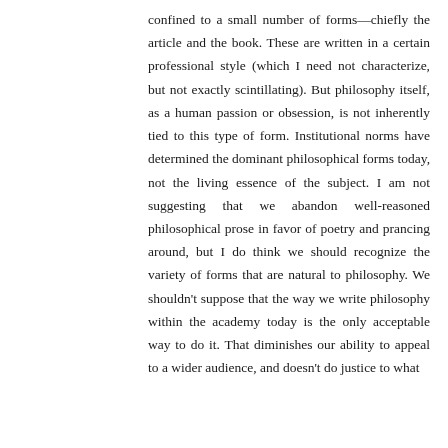confined to a small number of forms—chiefly the article and the book. These are written in a certain professional style (which I need not characterize, but not exactly scintillating). But philosophy itself, as a human passion or obsession, is not inherently tied to this type of form. Institutional norms have determined the dominant philosophical forms today, not the living essence of the subject. I am not suggesting that we abandon well-reasoned philosophical prose in favor of poetry and prancing around, but I do think we should recognize the variety of forms that are natural to philosophy. We shouldn't suppose that the way we write philosophy within the academy today is the only acceptable way to do it. That diminishes our ability to appeal to a wider audience, and doesn't do justice to what